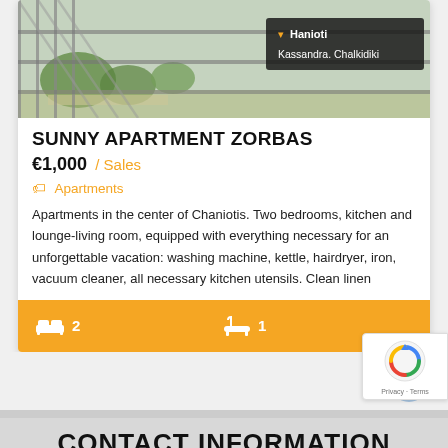[Figure (photo): Exterior balcony view of an apartment building overlooking a green garden/courtyard, with railing visible in foreground. Location badge shows Hanioti, Kassandra. Chalkidiki.]
SUNNY APARTMENT ZORBAS
€1,000 / Sales
Apartments
Apartments in the center of Chaniotis. Two bedrooms, kitchen and lounge-living room, equipped with everything necessary for an unforgettable vacation: washing machine, kettle, hairdryer, iron, vacuum cleaner, all necessary kitchen utensils. Clean linen
2 bedrooms, 1 bathroom
CONTACT INFORMATION